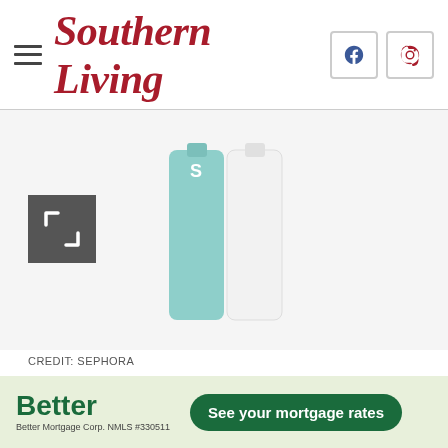Southern Living
[Figure (photo): Two product bottles — a teal/mint colored mascara tube and a white tube — shown against a light background. Sephora product image.]
CREDIT: SEPHORA
Tarte SEA Surfer Curl Volumizing Mascara
You won't get a better instant curl than with this newer vegan mascara from eco-smart brand Tarte. Great for those who are always on the go, it boasts a sweat-proof, flake-free, and smudge-proof formula with
[Figure (infographic): Better Mortgage advertisement banner with green background. Shows 'Better' logo in green text, 'Better Mortgage Corp. NMLS #330511' subtext, and a dark green rounded button reading 'See your mortgage rates'.]